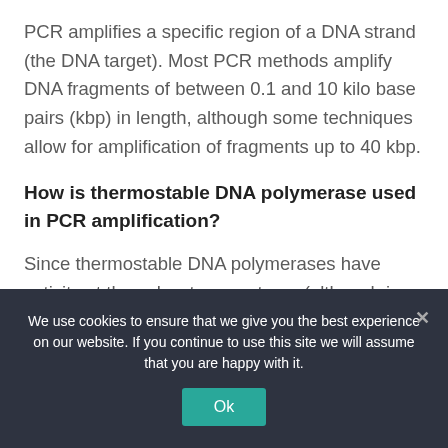PCR amplifies a specific region of a DNA strand (the DNA target). Most PCR methods amplify DNA fragments of between 0.1 and 10 kilo base pairs (kbp) in length, although some techniques allow for amplification of fragments up to 40 kbp.
How is thermostable DNA polymerase used in PCR amplification?
Since thermostable DNA polymerases have activity at these low temperatures (although in most cases the activity is less than 25%) the
We use cookies to ensure that we give you the best experience on our website. If you continue to use this site we will assume that you are happy with it.